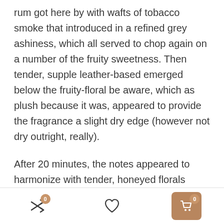rum got here by with wafts of tobacco smoke that introduced in a refined grey ashiness, which all served to chop again on a number of the fruity sweetness. Then tender, supple leather-based emerged below the fruity-floral be aware, which as plush because it was, appeared to provide the fragrance a slight dry edge (however not dry outright, really).
After 20 minutes, the notes appeared to harmonize with tender, honeyed florals accented by rum over smoky, easy leather-based. The modifications have been minimal by the following three hours; it remained closer-wearing, tender and hazy with